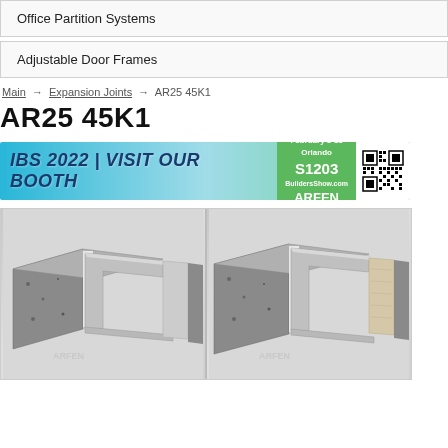Office Partition Systems
Adjustable Door Frames
Main → Expansion Joints → AR25 45K1
AR25 45K1
[Figure (other): IBS 2022 promotional banner: 'IBS 2022 | VISIT OUR BOOTH' with booth number S1203, Orlando, February 8-10, BuildersShow.com, ARFEN, with QR code]
[Figure (engineering-diagram): Two 3D cutaway views of expansion joint product AR25 45K1 installed between concrete sections, showing metal profile and foam insert details]